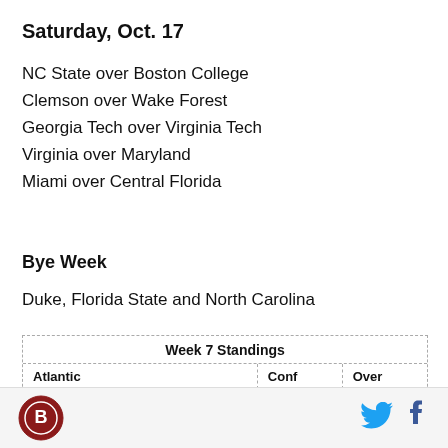Saturday, Oct. 17
NC State over Boston College
Clemson over Wake Forest
Georgia Tech over Virginia Tech
Virginia over Maryland
Miami over Central Florida
Bye Week
Duke, Florida State and North Carolina
| Atlantic | Conf | Over |
| --- | --- | --- |
| Florida State | 3-0 | 6-0 |
Logo, Twitter, Facebook